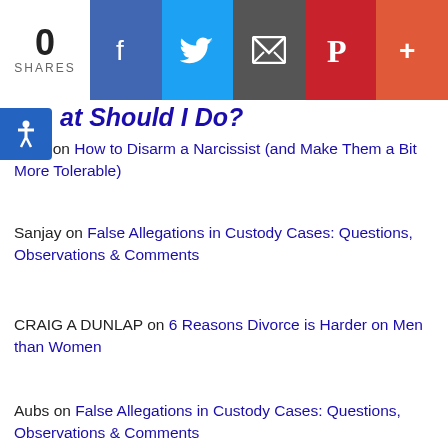0 SHARES | Facebook | Twitter | Email | Pinterest | More
What Should I Do?
Terry on How to Disarm a Narcissist (and Make Them a Bit More Tolerable)
Sanjay on False Allegations in Custody Cases: Questions, Observations & Comments
CRAIG A DUNLAP on 6 Reasons Divorce is Harder on Men than Women
Aubs on False Allegations in Custody Cases: Questions, Observations & Comments
ARCHIVES
August 2022
July 2022
[Figure (infographic): Ad banner: Fairfax Top-Rated Divorce Lawyer — Thoughtful · Thorough · Trusted with WM logo, dark blue background, with X close button]